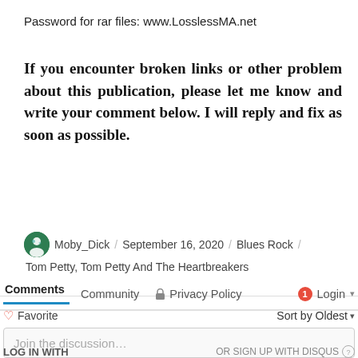Password for rar files: www.LosslessMA.net
If you encounter broken links or other problem about this publication, please let me know and write your comment below. I will reply and fix as soon as possible.
Moby_Dick / September 16, 2020 / Blues Rock / Tom Petty, Tom Petty And The Heartbreakers
Comments   Community   Privacy Policy   1   Login
Favorite   Sort by Oldest
Join the discussion...
LOG IN WITH   OR SIGN UP WITH DISQUS